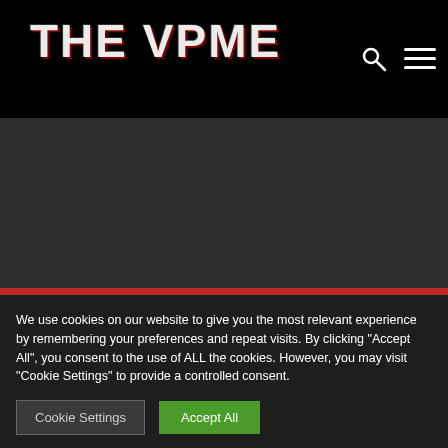THE VPME
LATEST VPME PODCAST
We use cookies on our website to give you the most relevant experience by remembering your preferences and repeat visits. By clicking "Accept All", you consent to the use of ALL the cookies. However, you may visit "Cookie Settings" to provide a controlled consent.
Cookie Settings  Accept All